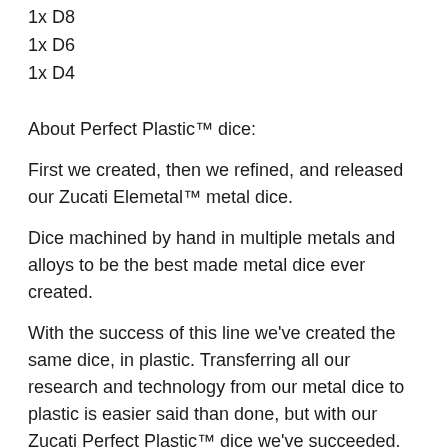1x D8
1x D6
1x D4
About Perfect Plastic™ dice:
First we created, then we refined, and released our Zucati Elemetal™ metal dice.
Dice machined by hand in multiple metals and alloys to be the best made metal dice ever created.
With the success of this line we've created the same dice, in plastic. Transferring all our research and technology from our metal dice to plastic is easier said than done, but with our Zucati Perfect Plastic™ dice we've succeeded.